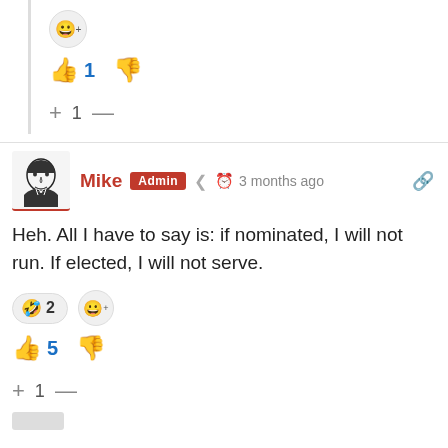[Figure (screenshot): Comment section top area with emoji button, thumbs up with count 1, thumbs down, and score +1-]
Mike Admin • 3 months ago
Heh. All I have to say is: if nominated, I will not run. If elected, I will not serve.
[Figure (screenshot): Emoji reactions: rolling on floor laughing x2, add emoji button]
👍 5 👎
+ 1 —